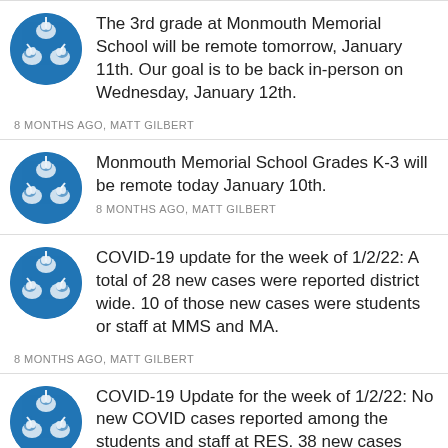[Figure (logo): Blue circular school logo with white horse/unicorn figures arranged in a triangle pattern]
The 3rd grade at Monmouth Memorial School will be remote tomorrow, January 11th. Our goal is to be back in-person on Wednesday, January 12th.
8 MONTHS AGO, MATT GILBERT
[Figure (logo): Blue circular school logo with white horse/unicorn figures arranged in a triangle pattern]
Monmouth Memorial School Grades K-3 will be remote today January 10th.
8 MONTHS AGO, MATT GILBERT
[Figure (logo): Blue circular school logo with white horse/unicorn figures arranged in a triangle pattern]
COVID-19 update for the week of 1/2/22: A total of 28 new cases were reported district wide. 10 of those new cases were students or staff at MMS and MA.
8 MONTHS AGO, MATT GILBERT
[Figure (logo): Blue circular school logo with white horse/unicorn figures arranged in a triangle pattern]
COVID-19 Update for the week of 1/2/22: No new COVID cases reported among the students and staff at RES. 38 new cases district...